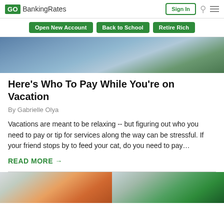GO BankingRates — Sign In
Open New Account | Back to School | Retire Rich
[Figure (photo): Partial photo of people shopping, blue clothing visible, store shelves in background]
Here’s Who To Pay While You’re on Vacation
By Gabrielle Olya
Vacations are meant to be relaxing -- but figuring out who you need to pay or tip for services along the way can be stressful. If your friend stops by to feed your cat, do you need to pay…
READ MORE →
[Figure (photo): Bottom partial images: left shows cleaning/retail products with orange item, right shows green gas pump or ATM]